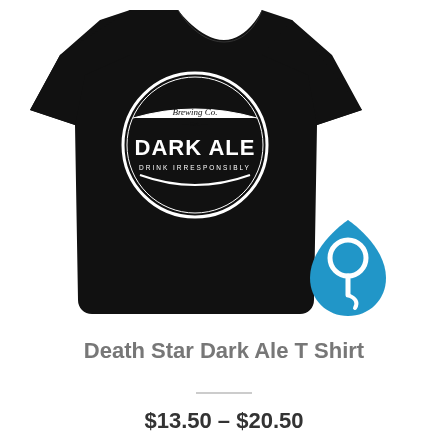[Figure (photo): Black t-shirt with circular 'Brewing Co. Dark Ale - Drink Irresponsibly' logo in white on chest, and a blue teardrop-shaped icon with white figure in lower right corner]
Death Star Dark Ale T Shirt
$13.50 – $20.50